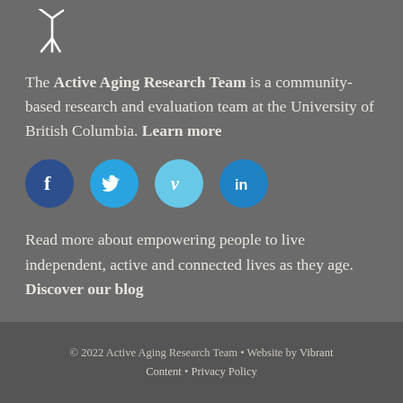[Figure (logo): Abstract figure/person logo in white on grey background]
The Active Aging Research Team is a community-based research and evaluation team at the University of British Columbia. Learn more
[Figure (infographic): Social media icons: Facebook, Twitter, Vimeo, LinkedIn]
Read more about empowering people to live independent, active and connected lives as they age. Discover our blog
© 2022 Active Aging Research Team • Website by Vibrant Content • Privacy Policy